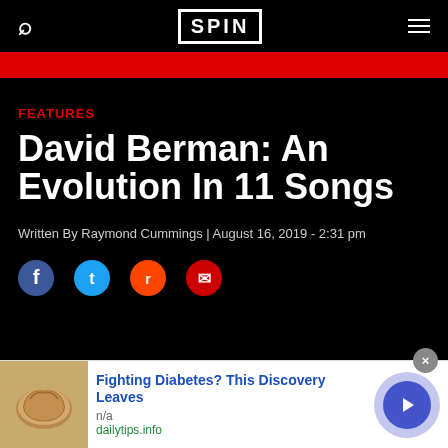SPIN
FEATURES
David Berman: An Evolution In 11 Songs
Written By Raymond Cummings | August 16, 2019  - 2:31 pm
[Figure (infographic): Social sharing icons row: Facebook, Twitter, Reddit, Email]
[Figure (infographic): Advertisement banner: cashew nuts image, headline 'Fighting Diabetes? This Discovery Leaves', n/a, dailytips.info, with close button and arrow button]